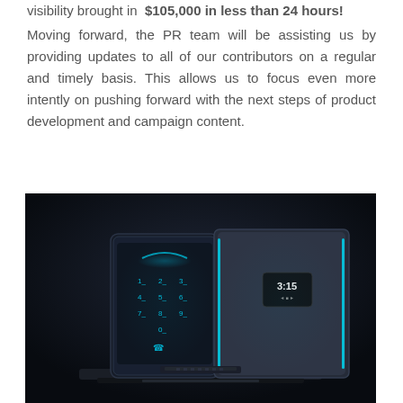visibility brought in  $105,000 in less than 24 hours!

Moving forward, the PR team will be assisting us by providing updates to all of our contributors on a regular and timely basis. This allows us to focus even more intently on pushing forward with the next steps of product development and campaign content.
[Figure (photo): Product photo on dark background showing two futuristic transparent/glass-look devices — a smartphone-style device with a numeric keypad interface and blue glow elements on the left, and a tablet/laptop-style device with blue LED trim and a clock display showing 3:15 on the right, both mounted on a dark stand/dock.]